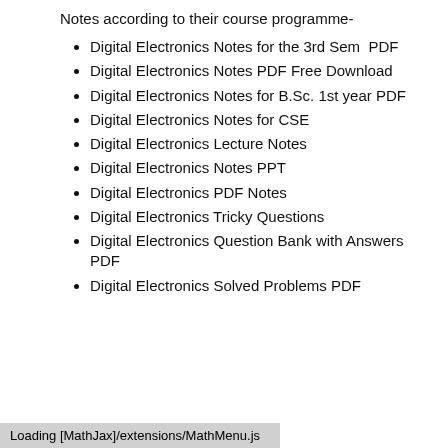Notes according to their course programme-
Digital Electronics Notes for the 3rd Sem  PDF
Digital Electronics Notes PDF Free Download
Digital Electronics Notes for B.Sc. 1st year PDF
Digital Electronics Notes for CSE
Digital Electronics Lecture Notes
Digital Electronics Notes PPT
Digital Electronics PDF Notes
Digital Electronics Tricky Questions
Digital Electronics Question Bank with Answers PDF
Digital Electronics Solved Problems PDF
Loading [MathJax]/extensions/MathMenu.js
ns PDF